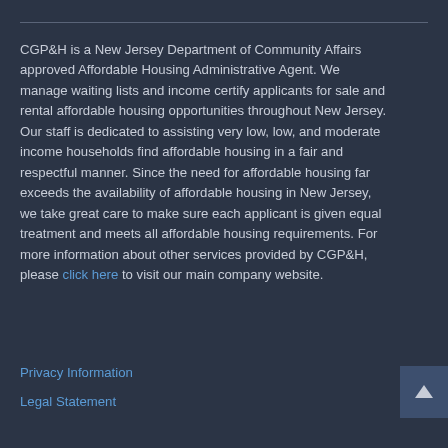CGP&H is a New Jersey Department of Community Affairs approved Affordable Housing Administrative Agent. We manage waiting lists and income certify applicants for sale and rental affordable housing opportunities throughout New Jersey. Our staff is dedicated to assisting very low, low, and moderate income households find affordable housing in a fair and respectful manner. Since the need for affordable housing far exceeds the availability of affordable housing in New Jersey, we take great care to make sure each applicant is given equal treatment and meets all affordable housing requirements. For more information about other services provided by CGP&H, please click here to visit our main company website.
Privacy Information
Legal Statement